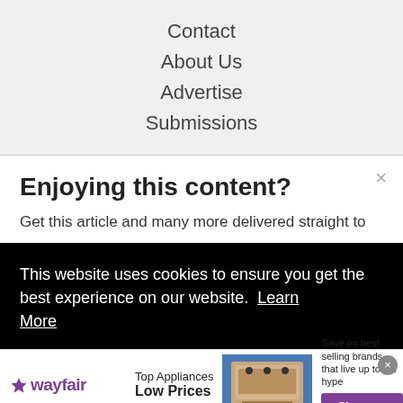Contact
About Us
Advertise
Submissions
Enjoying this content?
Get this article and many more delivered straight to
This website uses cookies to ensure you get the best experience on our website. Learn More
[Figure (screenshot): Wayfair advertisement banner: Top Appliances Low Prices with appliance image and Shop now button]